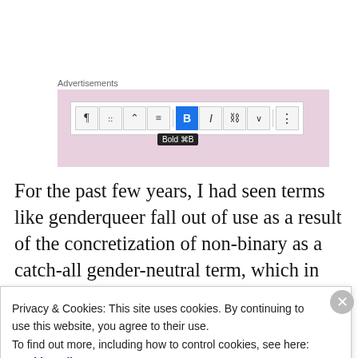Advertisements
[Figure (screenshot): Screenshot of a content editor toolbar with paragraph, list, heading, alignment, Bold (active/highlighted in blue), italic, link, expand, and more-options buttons. A 'Bold' tooltip is visible below the Bold button.]
For the past few years, I had seen terms like genderqueer fall out of use as a result of the concretization of non-binary as a catch-all gender-neutral term, which in many cases replaced the myriad of self-descriptive terms that had previously been used. I both witnessed and experienced judgment towards perceived
Privacy & Cookies: This site uses cookies. By continuing to use this website, you agree to their use.
To find out more, including how to control cookies, see here: Cookie Policy
Close and accept